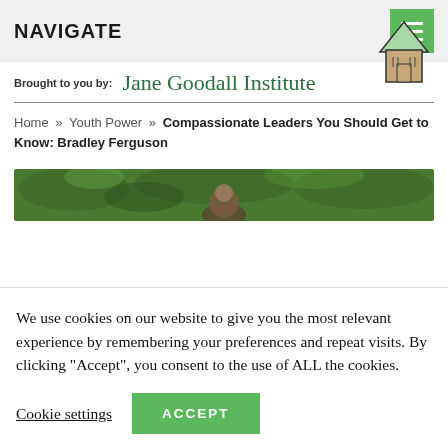NAVIGATE
Brought to you by:  Jane Goodall Institute
Home » Youth Power » Compassionate Leaders You Should Get to Know: Bradley Ferguson
[Figure (photo): Outdoor photo of a person partially visible among green foliage and trees]
We use cookies on our website to give you the most relevant experience by remembering your preferences and repeat visits. By clicking "Accept", you consent to the use of ALL the cookies.
Cookie settings   ACCEPT